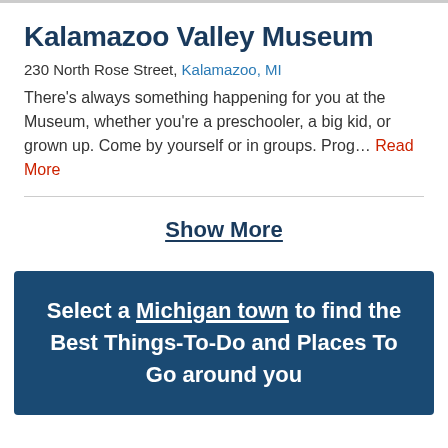Kalamazoo Valley Museum
230 North Rose Street, Kalamazoo, MI
There's always something happening for you at the Museum, whether you're a preschooler, a big kid, or grown up. Come by yourself or in groups. Prog… Read More
Show More
Select a Michigan town to find the Best Things-To-Do and Places To Go around you